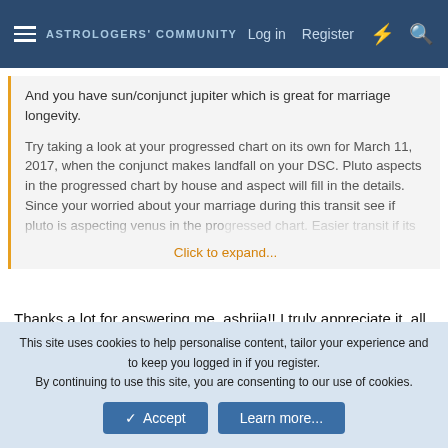ASTROLOGERS COMMUNITY  Log in  Register
And you have sun/conjunct jupiter which is great for marriage longevity.
Try taking a look at your progressed chart on its own for March 11, 2017, when the conjunct makes landfall on your DSC. Pluto aspects in the progressed chart by house and aspect will fill in the details. Since your worried about your marriage during this transit see if pluto is aspecting venus in the progressed chart. Easier transit if its not
Click to expand...
Thanks a lot for answering me, ashriia!! I truly appreciate it, all your answers help me in gaining knowledge about this transit and about astrology in general!!
Glad to hear that sun - jupiter is a good aspect for marriage
This site uses cookies to help personalise content, tailor your experience and to keep you logged in if you register.
By continuing to use this site, you are consenting to our use of cookies.